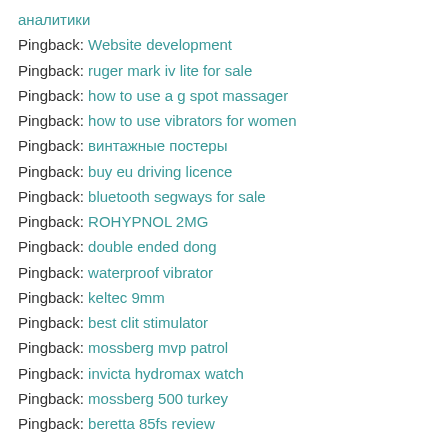аналитики
Pingback: Website development
Pingback: ruger mark iv lite for sale
Pingback: how to use a g spot massager
Pingback: how to use vibrators for women
Pingback: винтажные постеры
Pingback: buy eu driving licence
Pingback: bluetooth segways for sale
Pingback: ROHYPNOL 2MG
Pingback: double ended dong
Pingback: waterproof vibrator
Pingback: keltec 9mm
Pingback: best clit stimulator
Pingback: mossberg mvp patrol
Pingback: invicta hydromax watch
Pingback: mossberg 500 turkey
Pingback: beretta 85fs review